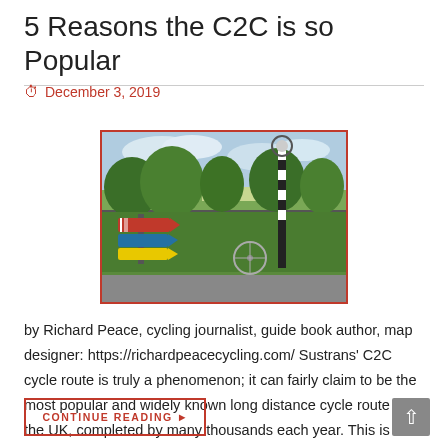5 Reasons the C2C is so Popular
December 3, 2019
[Figure (photo): Countryside scene with road signs, a bicycle leaning against a wall, green fields, trees, and a tall black-and-white waymarker post. Rural UK landscape under cloudy sky.]
by Richard Peace, cycling journalist, guide book author, map designer: https://richardpeacecycling.com/ Sustrans' C2C cycle route is truly a phenomenon; it can fairly claim to be the most popular and widely known long distance cycle route in the UK, completed by many thousands each year. This is despite the fact it…
CONTINUE READING ▶